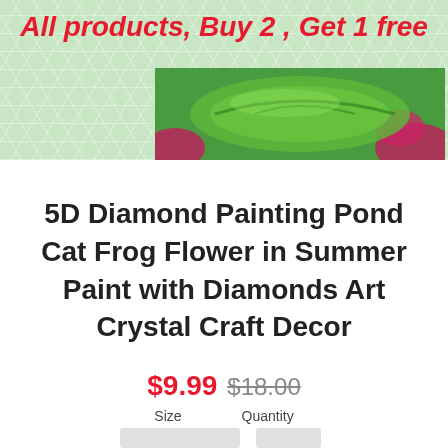All products, Buy 2 , Get 1 free
[Figure (photo): Partial product image showing green and magenta diamond painting kit — a frog/flower pond scene with vibrant colors]
5D Diamond Painting Pond Cat Frog Flower in Summer Paint with Diamonds Art Crystal Craft Decor
$9.99  $18.00
Size   Quantity